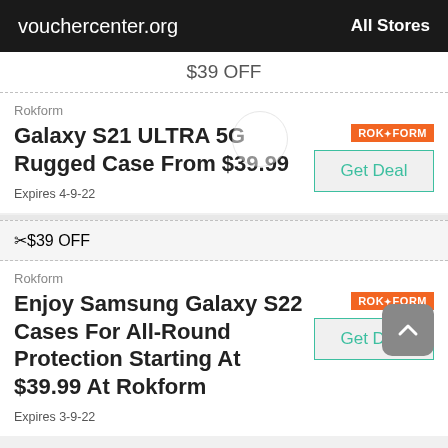vouchercenter.org   All Stores
$39 OFF
Rokform
Galaxy S21 ULTRA 5G Rugged Case From $39.99
Expires 4-9-22
$39 OFF
Rokform
Enjoy Samsung Galaxy S22 Cases For All-Round Protection Starting At $39.99 At Rokform
Expires 3-9-22